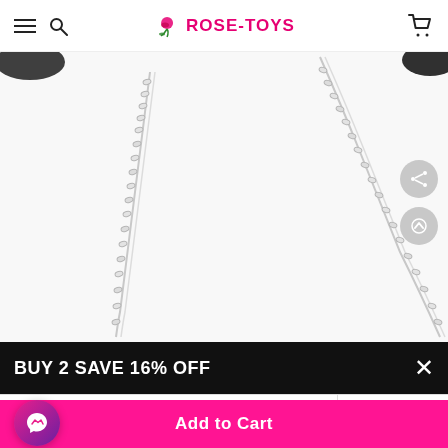Rose-Toys
[Figure (photo): Close-up photo of a silver chain necklace/belt chain on white background, with dark fabric visible at top corners. Two circular gray action buttons on the right side: a share button and an up/scroll button.]
BUY 2 SAVE 16% OFF
Black Pill  Belt Chain
1
Add to Cart